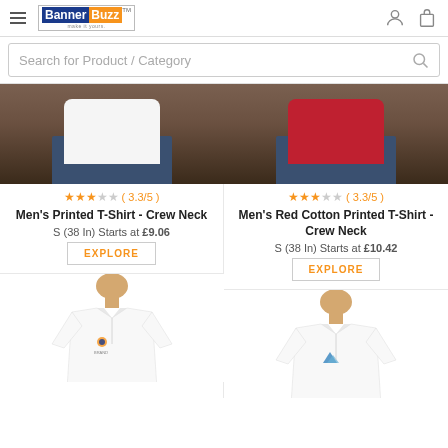BannerBuzz
Search for Product / Category
[Figure (photo): Man wearing white crew neck t-shirt with jeans, hands in pockets, brown background (cropped at torso)]
★★★☆☆ ( 3.3/5 )
Men's Printed T-Shirt - Crew Neck
S (38 In) Starts at £9.06
EXPLORE
[Figure (photo): Man wearing red crew neck t-shirt with jeans, hands in pockets, brown background (cropped at torso)]
★★★☆☆ ( 3.3/5 )
Men's Red Cotton Printed T-Shirt - Crew Neck
S (38 In) Starts at £10.42
EXPLORE
[Figure (photo): Man wearing white polo shirt with small colorful logo, cropped at upper body]
[Figure (photo): Man wearing white polo shirt with small blue logo, cropped at upper body]